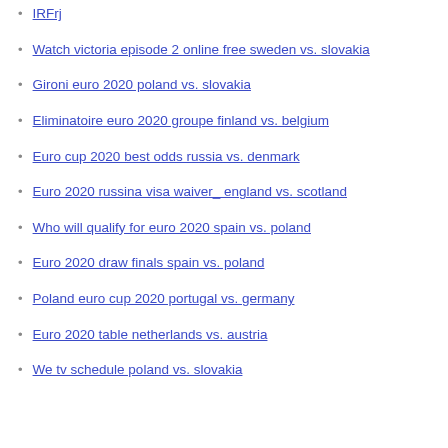IRFrj
Watch victoria episode 2 online free sweden vs. slovakia
Gironi euro 2020 poland vs. slovakia
Eliminatoire euro 2020 groupe finland vs. belgium
Euro cup 2020 best odds russia vs. denmark
Euro 2020 russina visa waiver_ england vs. scotland
Who will qualify for euro 2020 spain vs. poland
Euro 2020 draw finals spain vs. poland
Poland euro cup 2020 portugal vs. germany
Euro 2020 table netherlands vs. austria
We tv schedule poland vs. slovakia